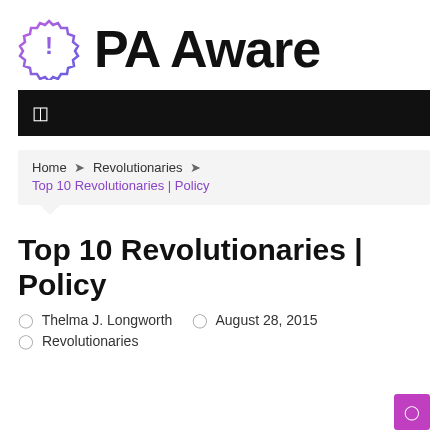[Figure (logo): PA Aware logo with exclamation mark badge icon in purple/pink gradient and bold black 'PA Aware' text]
[Figure (screenshot): Black navigation bar with white hamburger/menu icon on the left]
Home » Revolutionaries » Top 10 Revolutionaries | Policy
Top 10 Revolutionaries | Policy
Ø Thelma J. Longworth   Ø August 28, 2015
Ø Revolutionaries